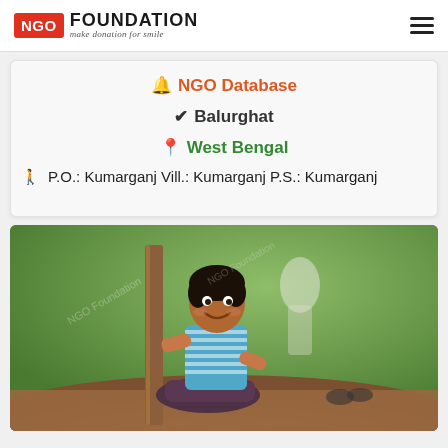NGO FOUNDATION — make donation for smile
🔔 NGO Database
✔ Balurghat
📍 West Bengal
🚶 P.O.: Kumarganj Vill.: Kumarganj P.S.: Kumarganj
[Figure (photo): A smiling young boy sitting outdoors on the ground, leaning against a wooden post, wearing a blue striped shirt and dark trousers. Green foliage in the background. NGO Foundation watermark visible.]